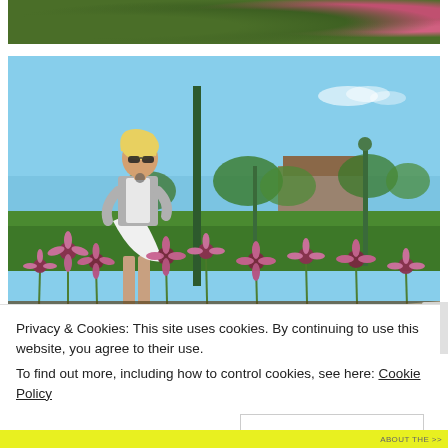[Figure (photo): Partial view of a garden with dark green foliage and pink/purple coneflowers at the top of the page]
[Figure (photo): A blonde woman wearing sunglasses, a gray and white baseball-style top, and a white skirt stands in a park with pink coneflowers (echinacea) in the foreground, green lamp posts, and brick buildings in the background under a blue sky]
Privacy & Cookies: This site uses cookies. By continuing to use this website, you agree to their use.
To find out more, including how to control cookies, see here: Cookie Policy
Close and accept